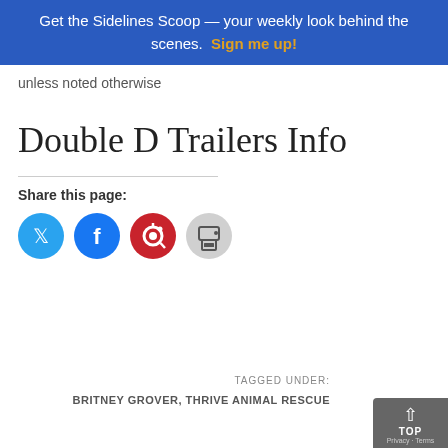Get the Sidelines Scoop — your weekly look behind the scenes. Sign me up!
unless noted otherwise
Double D Trailers Info
Share this page:
[Figure (other): Social share icons: Twitter, Facebook, Pinterest, Print]
TAGGED UNDER:
BRITNEY GROVER, THRIVE ANIMAL RESCUE